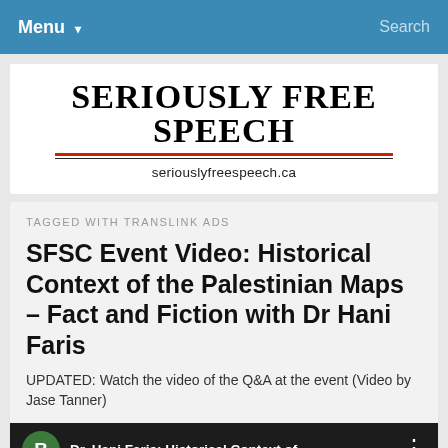Menu ▾   Search
[Figure (logo): Seriously Free Speech logo with site URL seriouslyfreespeech.ca]
TAGGED WITH TRANSLINK ADS
SFSC Event Video: Historical Context of the Palestinian Maps – Fact and Fiction with Dr Hani Faris
UPDATED: Watch the video of the Q&A at the event (Video by Jase Tanner)
[Figure (screenshot): Video thumbnail showing Dr. Hani Faris: Historical Context of... with a green B avatar icon and vertical dots menu, with a photo of a man speaking at bottom]